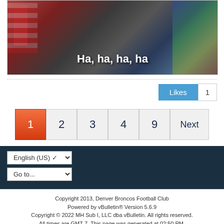[Figure (photo): A judge (Judge Judy) in black robes sitting and laughing, with an American flag and decorative backdrop behind her. White overlay text reads 'Ha, ha, ha, ha']
Likes  1
1  2  3  4  9  Next
English (US)  Go to...
Copyright 2013, Denver Broncos Football Club
Powered by vBulletin® Version 5.6.9
Copyright © 2022 MH Sub I, LLC dba vBulletin. All rights reserved.
All times are GMT-7. This page was generated at 02:50 PM.